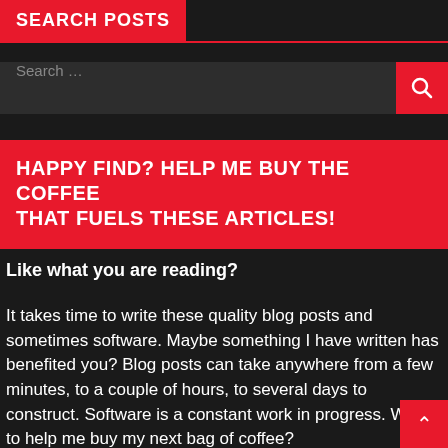SEARCH POSTS
[Figure (screenshot): Search input box with a red search button containing a magnifying glass icon]
HAPPY FIND? HELP ME BUY THE COFFEE THAT FUELS THESE ARTICLES!
Like what you are reading?
It takes time to write these quality blog posts and sometimes software. Maybe something I have written has benefited you? Blog posts can take anywhere from a few minutes, to a couple of hours, to several days to construct. Software is a constant work in progress. Want to help me buy my next bag of coffee?